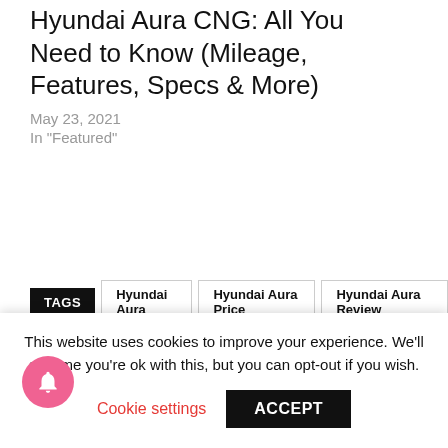Hyundai Aura CNG: All You Need to Know (Mileage, Features, Specs & More)
May 23, 2021
In "Featured"
TAGS   Hyundai Aura   Hyundai Aura Price   Hyundai Aura Review
[Figure (infographic): Row of social media share buttons: WhatsApp (green), Telegram (blue), Facebook (dark blue), Twitter (cyan), Pinterest (red/crimson), LinkedIn (dark blue)]
This website uses cookies to improve your experience. We'll assume you're ok with this, but you can opt-out if you wish.
Cookie settings   ACCEPT